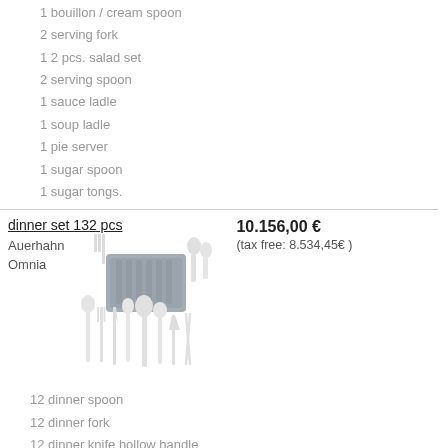1 bouillon / cream spoon
2 serving fork
1 2 pcs. salad set
2 serving spoon
1 sauce ladle
1 soup ladle
1 pie server
1 sugar spoon
1 sugar tongs.
dinner set 132 pcs
10.156,00 €
(tax free: 8.534,45€ )
Auerhahn
Omnia
[Figure (illustration): Cutlery set product photo showing various spoons, forks and knives arranged in a display stand]
12 dinner spoon
12 dinner fork
12 dinner knife hollow handle
12 dessert spoon
12 dessert fork
12 dessert knife hollow handle